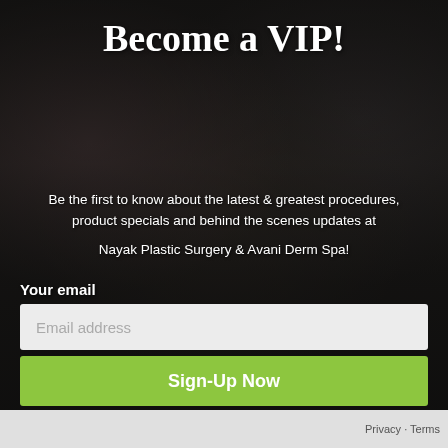[Figure (photo): Group photo of medical spa staff wearing black uniforms, arranged in multiple rows, dark background interior setting]
Become a VIP!
Be the first to know about the latest & greatest procedures, product specials and behind the scenes updates at
Nayak Plastic Surgery & Avani Derm Spa!
Your email
Email address
Sign-Up Now
Privacy · Terms